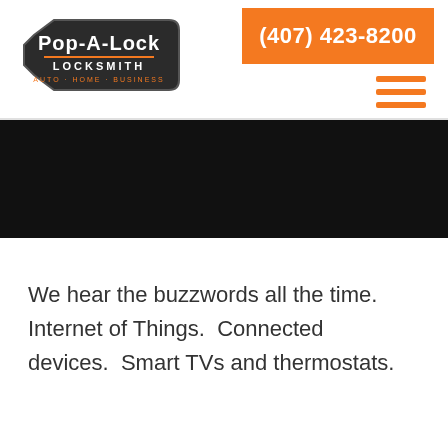[Figure (logo): Pop-A-Lock Locksmith logo — key shape with white text on dark background, subtitle: Auto Home Business]
(407) 423-8200
We hear the buzzwords all the time.  Internet of Things.  Connected devices.  Smart TVs and thermostats.